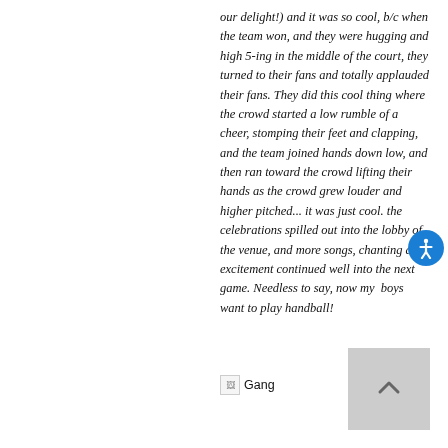our delight!) and it was so cool, b/c when the team won, and they were hugging and high 5-ing in the middle of the court, they turned to their fans and totally applauded their fans. They did this cool thing where the crowd started a low rumble of a cheer, stomping their feet and clapping, and the team joined hands down low, and then ran toward the crowd lifting their hands as the crowd grew louder and higher pitched... it was just cool. the celebrations spilled out into the lobby of the venue, and more songs, chanting and excitement continued well into the next game. Needless to say, now my  boys want to play handball!
[Figure (other): Broken image placeholder with text 'Gang']